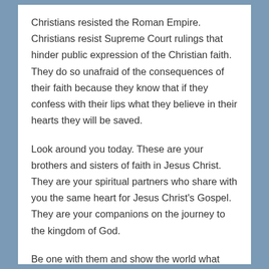Christians resisted the Roman Empire. Christians resist Supreme Court rulings that hinder public expression of the Christian faith. They do so unafraid of the consequences of their faith because they know that if they confess with their lips what they believe in their hearts they will be saved.
Look around you today. These are your brothers and sisters of faith in Jesus Christ. They are your spiritual partners who share with you the same heart for Jesus Christ's Gospel. They are your companions on the journey to the kingdom of God.
Be one with them and show the world what Jesus does for those who hold up under pressure! Amen.